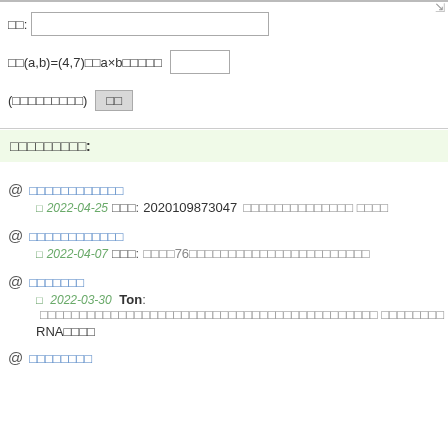□□:
□□(a,b)=(4,7)□□a×b□□□□□
(□□□□□□□□□) □□
□□□□□□□□□:
@ □□□□□□□□□□□□
□ 2022-04-25 □□□: 2020109873047 □□□□□□□□□□□□□□ □□□□
@ □□□□□□□□□□□□
□ 2022-04-07 □□□: □□□□76□□□□□□□□□□□□□□□□□□□□□□□
@ □□□□□□□
□ 2022-03-30 Ton: □□□□□□□□□□□□□□□□□□□□□□□□□□□□□□□□□□□□□□□□□□□ □□□□□□□□ RNA□□□□
@ □□□□□□□□